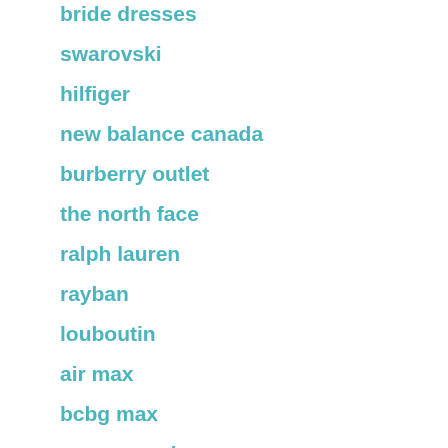bride dresses
swarovski
hilfiger
new balance canada
burberry outlet
the north face
ralph lauren
rayban
louboutin
air max
bcbg max
uggs on sale